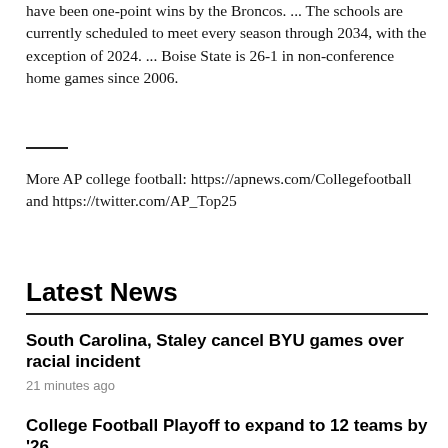have been one-point wins by the Broncos. ... The schools are currently scheduled to meet every season through 2034, with the exception of 2024. ... Boise State is 26-1 in non-conference home games since 2006.
More AP college football: https://apnews.com/Collegefootball and https://twitter.com/AP_Top25
Latest News
South Carolina, Staley cancel BYU games over racial incident
21 minutes ago
College Football Playoff to expand to 12 teams by '26